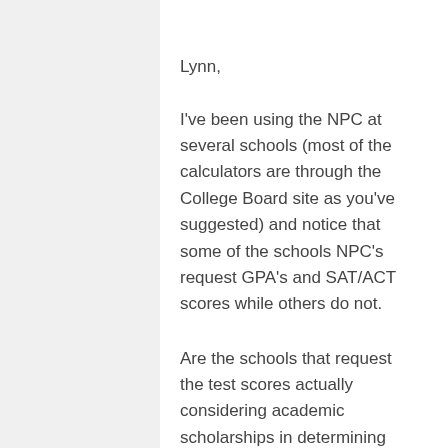Lynn,
I've been using the NPC at several schools (most of the calculators are through the College Board site as you've suggested) and notice that some of the schools NPC's request GPA's and SAT/ACT scores while others do not.
Are the schools that request the test scores actually considering academic scholarships in determining their grant/gift awards or are they solely focused